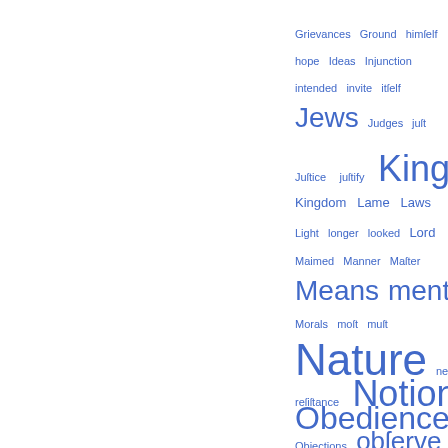[Figure (infographic): Word cloud / tag cloud showing index terms in varying font sizes proportional to frequency, displayed in blue on white background. Terms include: Grievances, Ground, himself, hope, Ideas, Injunction, intended, invite, itself, Jews, Judges, just, Justice, justify, King, Kingdom, Lame, Laws, Light, longer, looked, Lord, Maimed, Manner, Master, Means, ment, Minister, Morals, most, must, Nature, necessary, Non-resistance, Notions, Obedience, obeyed, Objections, observe, Occasion, Opinions, ordained, Origin, particular, Passage, Paul, Persons, plainly, Poor]